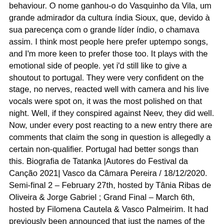behaviour. O nome ganhou-o do Vasquinho da Vila, um grande admirador da cultura índia Sioux, que, devido à sua parecença com o grande líder índio, o chamava assim. I think most people here prefer uptempo songs, and I'm more keen to prefer those too. It plays with the emotional side of people. yet i'd still like to give a shoutout to portugal. They were very confident on the stage, no nerves, reacted well with camera and his live vocals were spot on, it was the most polished on that night. Well, if they conspired against Neev, they did well. Now, under every post reacting to a new entry there are comments that claim the song in question is allegedly a certain non-qualifier. Portugal had better songs than this. Biografia de Tatanka |Autores do Festival da Canção 2021| Vasco da Câmara Pereira / 18/12/2020. Semi-final 2 – February 27th, hosted by Tânia Ribas de Oliveira & Jorge Gabriel ; Grand Final – March 6th, hosted by Filomena Cautela & Vasco Palmeirim. It had previously been announced that just the names of the competing artists would be released by RTP. Host countries generally don't do well even with good songs…. I'm portuguese as well but i don't believe the televote was rigged. If every act is like that it's going to be a good year! Those who don't like the rules would better not watch. The same format is used in the televote — three points for the least favourite song and 12 to the favourite. I remember they were first to sing during their